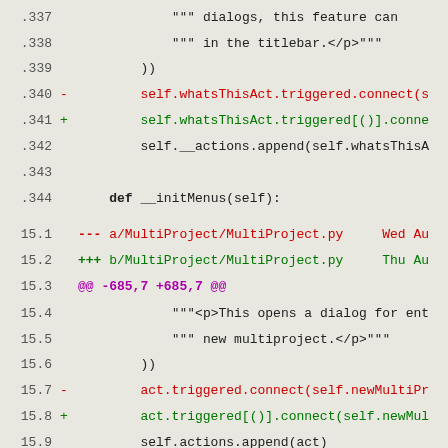Code diff view showing Python file changes including MultiProject.py modifications
.337      """ dialogs, this feature can
.338      """ in the titlebar.</p>"""
.339      ))
.340 -    self.whatsThisAct.triggered.connect(s
.341 +    self.whatsThisAct.triggered[()].conne
.342      self.__actions.append(self.whatsThisA
.343
.344      def __initMenus(self):
15.1 --- a/MultiProject/MultiProject.py    Wed Au
15.2 +++ b/MultiProject/MultiProject.py    Thu Au
15.3 @@ -685,7 +685,7 @@
15.4      """<p>This opens a dialog for ent
15.5      """ new multiproject.</p>"""
15.6      ))
15.7 -    act.triggered.connect(self.newMultiPr
15.8 +    act.triggered[()].connect(self.newMul
15.9      self.actions.append(act)
5.10
5.11      act = E5Action(self.trUtf8('Open mult
5.12 @@ -697,7 +697,7 @@